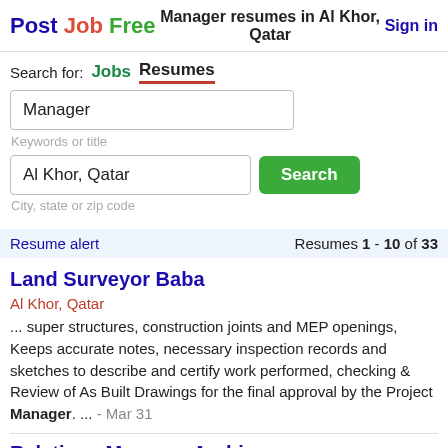Post Job Free | Manager resumes in Al Khor, Qatar | Sign in
Search for: Jobs Resumes
Manager
Keywords or title
Al Khor, Qatar
City, state or zip code
Resume alert | Resumes 1 - 10 of 33
Land Surveyor Baba
Al Khor, Qatar
... super structures, construction joints and MEP openings, Keeps accurate notes, necessary inspection records and sketches to describe and certify work performed, checking & Review of As Built Drawings for the final approval by the Project Manager. ... - Mar 31
Relations Manager Arabic
Al Khor, Qatar
... Sciences & Medical Imaging June 2008 PUBLICATIONS Journal of Radiation Research and Applied Sciences, Volume 9, Issue 3